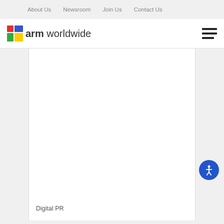About Us  Newsroom  Join Us  Contact Us
[Figure (logo): ARM Worldwide logo with colorful hashtag symbol and text 'arm worldwide']
Digital PR